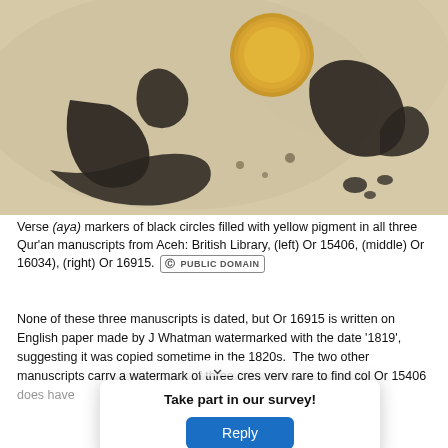[Figure (photo): Close-up photograph of an Arabic manuscript page showing black calligraphic script (verse aya markers) with a yellow-gold circular pigment dot, on aged parchment background.]
Verse (aya) markers of black circles filled with yellow pigment in all three Qur'an manuscripts from Aceh: British Library, (left) Or 15406, (middle) Or 16034), (right) Or 16915. [CC Public Domain badge]
None of these three manuscripts is dated, but Or 16915 is written on English paper made by J Whatman watermarked with the date '1819', suggesting it was copied sometime in the 1820s.  The two other manuscripts carry a watermark of three cres[cents — very rare to find col]Or 15406 does have [the] the owner: